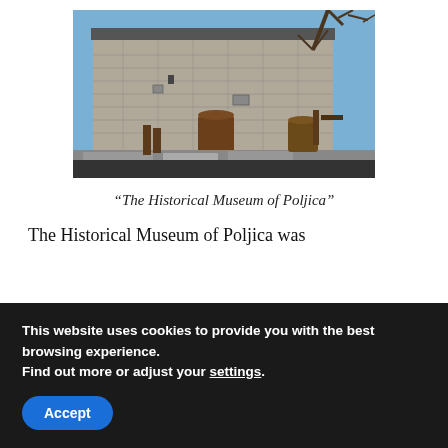[Figure (photo): Photograph of a historic stone building — The Historical Museum of Poljica — with a blue sky background, bare tree branches, wooden equipment in foreground, and stone slabs on the ground.]
“The Historical Museum of Poljica”
The Historical Museum of Poljica was
This website uses cookies to provide you with the best browsing experience.
Find out more or adjust your settings.